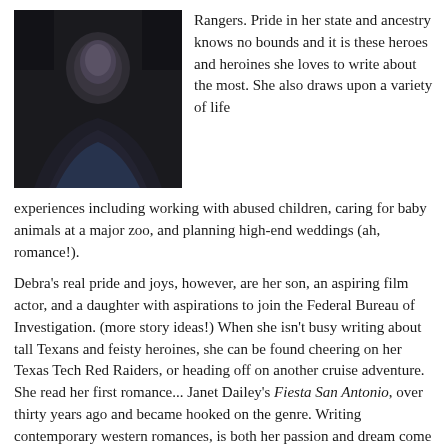[Figure (photo): Portrait photo of a person in dark clothing against a dark background, cropped to show upper body and face.]
Rangers.  Pride in her state and ancestry knows no bounds and it is these heroes and heroines she loves to write about the most.  She also draws upon a variety of life experiences including working with abused children, caring for baby animals at a major zoo, and planning high-end weddings (ah, romance!).
Debra's real pride and joys, however, are her son, an aspiring film actor, and a daughter with aspirations to join the Federal Bureau of Investigation. (more story ideas!)  When she isn't busy writing about tall Texans and feisty heroines, she can be found cheering on her Texas Tech Red Raiders, or heading off on another cruise adventure.  She read her first romance... Janet Dailey's Fiesta San Antonio, over thirty years ago and became hooked on the genre. Writing contemporary western romances,  is both her passion and dream come true, and she hopes her books will bring smiles...and sighs...to all who believe in happily-ever-after's.